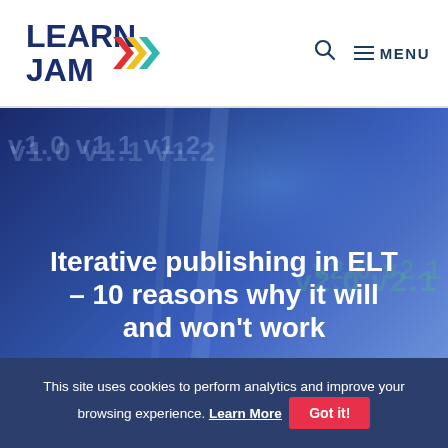[Figure (logo): LearnJam logo with bold blue text LEARN JAM and colorful chevron arrows in red, yellow, and teal]
🔍  ≡ MENU
[Figure (illustration): Hero banner with blue gradient background showing faded version labels v1.0 v1.1 v1.2 and green v2.0 watermarks]
Iterative publishing in ELT – 10 reasons why it will and won't work
This site uses cookies to perform analytics and improve your browsing experience. Learn More  Got it!